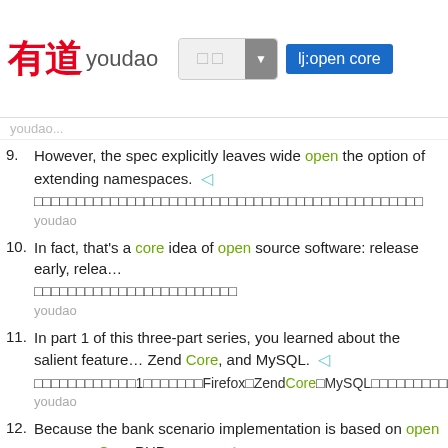有道 youdao — lj:open core
youdao...
9. However, the spec explicitly leaves wide open the option of extending namespaces. ◁
[Chinese translation]
youdao
10. In fact, that's a core idea of open source software: release early, relea...
[Chinese translation]
youdao
11. In part 1 of this three-part series, you learned about the salient feature... Zend Core, and MySQL. ◁
[Chinese translation]
youdao
12. Because the bank scenario implementation is based on open source... Core PHP server. ◁